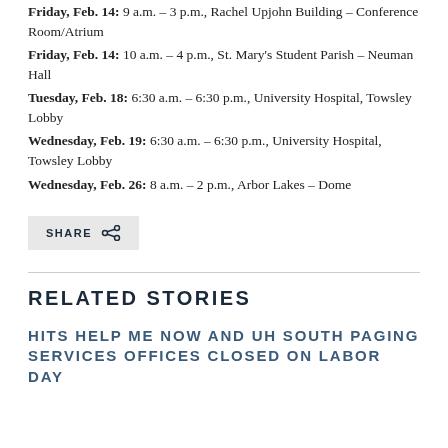Friday, Feb. 14: 9 a.m. – 3 p.m., Rachel Upjohn Building – Conference Room/Atrium
Friday, Feb. 14: 10 a.m. – 4 p.m., St. Mary's Student Parish – Neuman Hall
Tuesday, Feb. 18: 6:30 a.m. – 6:30 p.m., University Hospital, Towsley Lobby
Wednesday, Feb. 19: 6:30 a.m. – 6:30 p.m., University Hospital, Towsley Lobby
Wednesday, Feb. 26: 8 a.m. – 2 p.m., Arbor Lakes – Dome
RELATED STORIES
HITS HELP ME NOW AND UH SOUTH PAGING SERVICES OFFICES CLOSED ON LABOR DAY